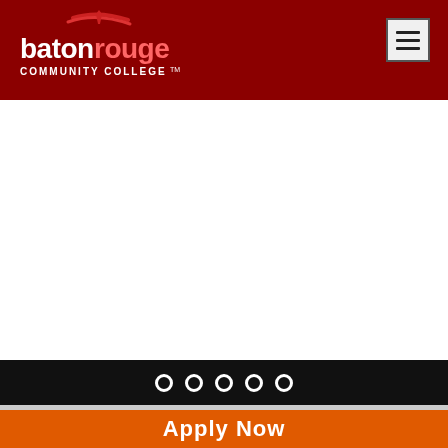[Figure (logo): Baton Rouge Community College logo: red background with white text 'baton rouge' in large sans-serif and 'COMMUNITY COLLEGE TM' in smaller caps, with a red arc and torch icon above]
[Figure (screenshot): Navigation hamburger menu button: light gray square button with three horizontal dark bars]
[Figure (photo): White empty content/slideshow area (image not loaded or blank slide)]
[Figure (infographic): Carousel pagination: 5 hollow circle dots on black bar indicating slideshow navigation]
Apply Now